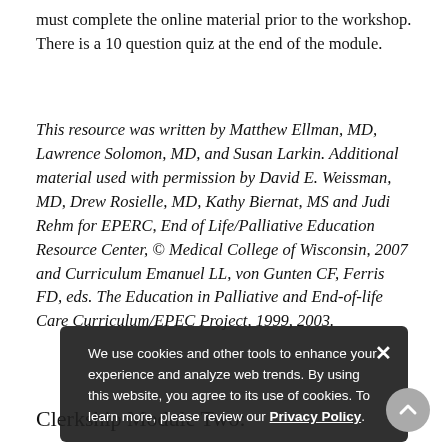must complete the online material prior to the workshop. There is a 10 question quiz at the end of the module.
This resource was written by Matthew Ellman, MD, Lawrence Solomon, MD, and Susan Larkin. Additional material used with permission by David E. Weissman, MD, Drew Rosielle, MD, Kathy Biernat, MS and Judi Rehm for EPERC, End of Life/Palliative Education Resource Center, © Medical College of Wisconsin, 2007 and Curriculum Emanuel LL, von Gunten CF, Ferris FD, eds. The Education in Palliative and End-of-life Care Curriculum/EPEC Project, 1999, 2003.
Clerkship Module Two: